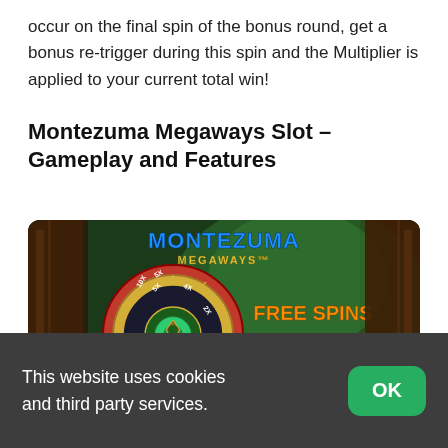occur on the final spin of the bonus round, get a bonus re-trigger during this spin and the Multiplier is applied to your current total win!
Montezuma Megaways Slot – Gameplay and Features
[Figure (screenshot): Screenshot of Montezuma Megaways slot game showing a spinning wheel with multipliers and text: FREE SPINS WITH MONTEZUMA MULTIPLIERS]
This website uses cookies and third party services.